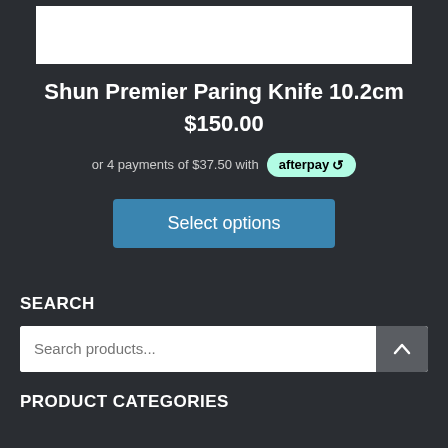[Figure (photo): White product image area (partial, top of page)]
Shun Premier Paring Knife 10.2cm
$150.00
or 4 payments of $37.50 with afterpay
Select options
SEARCH
Search products...
PRODUCT CATEGORIES